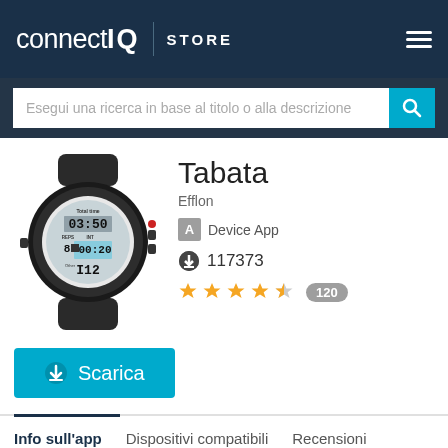connect IQ STORE
Esegui una ricerca in base al titolo o alla descrizione
[Figure (photo): Garmin smartwatch (fenix) displaying a Tabata workout screen with Total time 03:50, REPS 8, INT 00:20, and 112 shown on the watch face]
Tabata
Efflon
A Device App
117373
★★★★☆ 120
⬇ Scarica
Info sull'app
Dispositivi compatibili
Recensioni